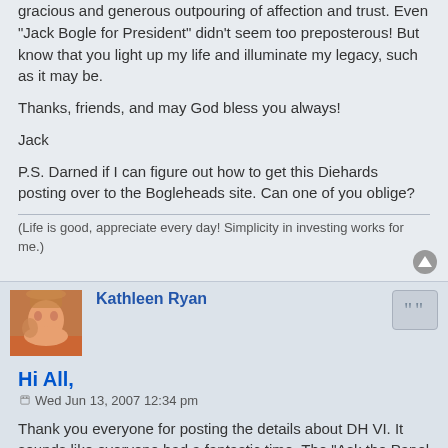gracious and generous outpouring of affection and trust. Even "Jack Bogle for President" didn't seem too preposterous! But know that you light up my life and illuminate my legacy, such as it may be.
Thanks, friends, and may God bless you always!
Jack
P.S. Darned if I can figure out how to get this Diehards posting over to the Bogleheads site. Can one of you oblige?
(Life is good, appreciate every day! Simplicity in investing works for me.)
Kathleen Ryan
Hi All,
Wed Jun 13, 2007 12:34 pm
Thank you everyone for posting the details about DH VI. It sounds like everyone had a fantastic time. The "Ask the Panel of Experts" sounds like it was very informative, and I would have liked to have seen the crowning of Queen Laura. :)
This was the first reunion I missed since the first reunion held at Taylor